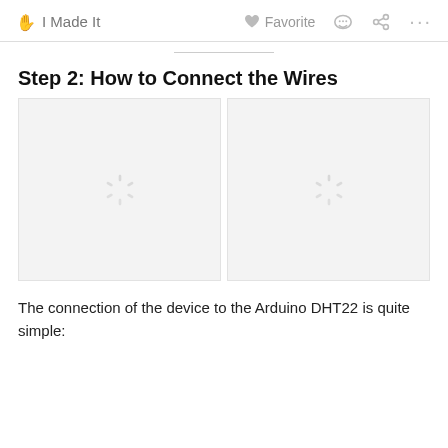✋ I Made It   ♥ Favorite  💬  ⟨  …
Step 2: How to Connect the Wires
[Figure (photo): Image placeholder with loading spinner (left)]
[Figure (photo): Image placeholder with loading spinner (right)]
The connection of the device to the Arduino DHT22 is quite simple: